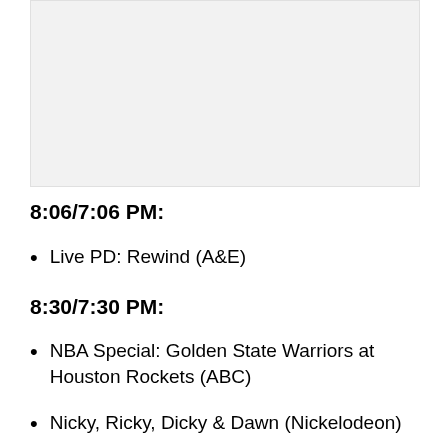[Figure (other): Gray placeholder box at top of page]
8:06/7:06 PM:
Live PD: Rewind (A&E)
8:30/7:30 PM:
NBA Special: Golden State Warriors at Houston Rockets (ABC)
Nicky, Ricky, Dicky & Dawn (Nickelodeon)